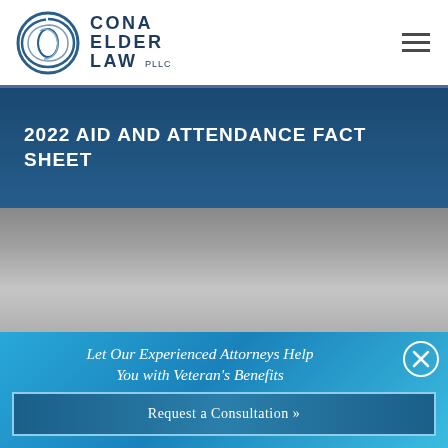[Figure (logo): Cona Elder Law PLLC logo with circular swirl icon and text]
2022 AID AND ATTENDANCE FACT SHEET
[Figure (photo): Gray gradient background section]
Let Our Experienced Attorneys Help You with Veteran's Benefits
Request a Consultation »